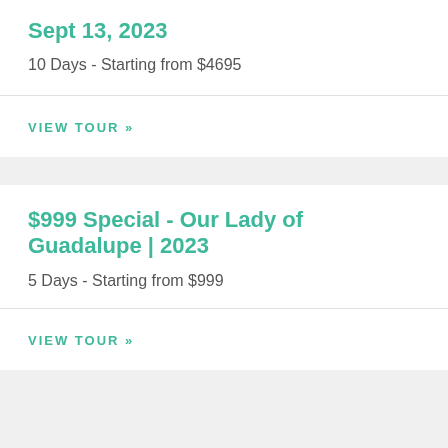Sept 13, 2023
10 Days - Starting from $4695
VIEW TOUR »
$999 Special - Our Lady of Guadalupe | 2023
5 Days - Starting from $999
VIEW TOUR »